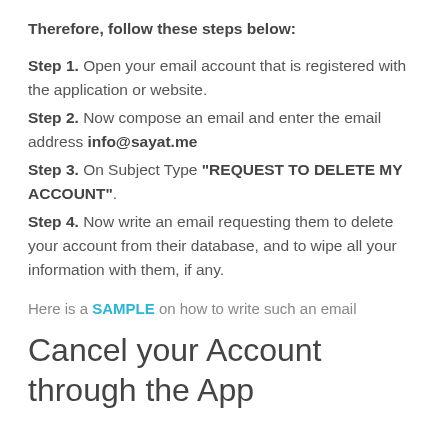Therefore, follow these steps below:
Step 1. Open your email account that is registered with the application or website.
Step 2. Now compose an email and enter the email address info@sayat.me
Step 3. On Subject Type “REQUEST TO DELETE MY ACCOUNT”.
Step 4. Now write an email requesting them to delete your account from their database, and to wipe all your information with them, if any.
Here is a SAMPLE on how to write such an email
Cancel your Account through the App